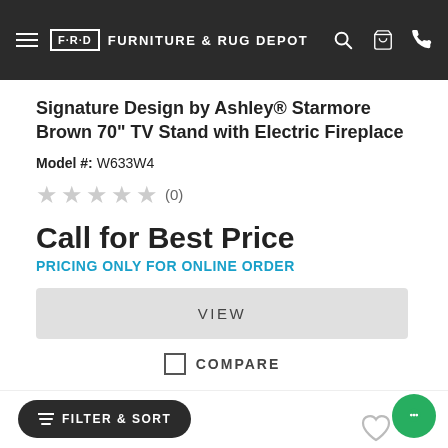FRD FURNITURE & RUG DEPOT
Signature Design by Ashley® Starmore Brown 70" TV Stand with Electric Fireplace
Model #: W633W4
★★★★★ (0)
Call for Best Price
PRICING ONLY FOR ONLINE ORDER
VIEW
COMPARE
FILTER & SORT